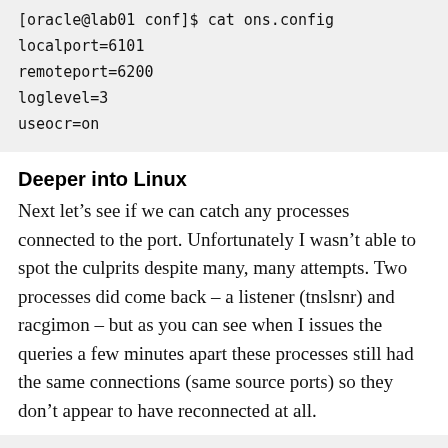[Figure (screenshot): Code block showing terminal output: [oracle@lab01 conf]$ cat ons.config with config values localport=6101, remoteport=6200, loglevel=3, useocr=on]
Deeper into Linux
Next let’s see if we can catch any processes connected to the port. Unfortunately I wasn’t able to spot the culprits despite many, many attempts. Two processes did come back – a listener (tnslsnr) and racgimon – but as you can see when I issues the queries a few minutes apart these processes still had the same connections (same source ports) so they don’t appear to have reconnected at all.
[Figure (screenshot): Code block showing terminal output: [root@lab01 log]# netstat -tapn|grep '127 with partial next line showing tcp 0 0 127.0.0.1:6101]